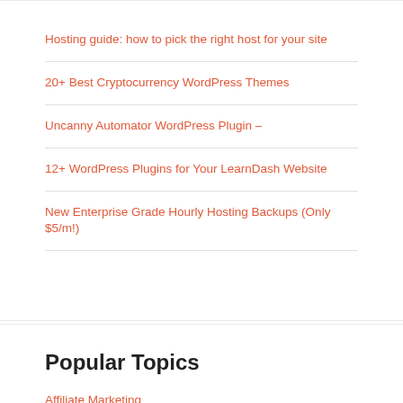Hosting guide: how to pick the right host for your site
20+ Best Cryptocurrency WordPress Themes
Uncanny Automator WordPress Plugin –
12+ WordPress Plugins for Your LearnDash Website
New Enterprise Grade Hourly Hosting Backups (Only $5/m!)
Popular Topics
Affiliate Marketing